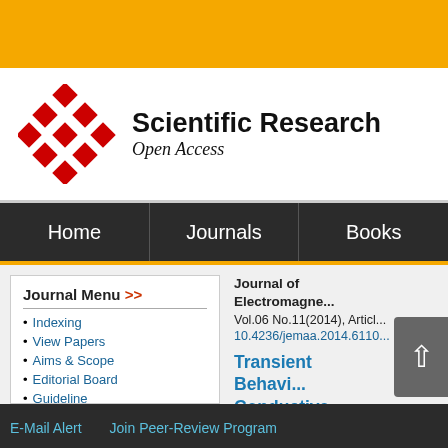[Figure (logo): Scientific Research Open Access logo with red diamond grid pattern and text]
Home | Journals | Books
Journal Menu >>
Indexing
View Papers
Aims & Scope
Editorial Board
Guideline
Article Processing Charges
Paper Submission
Journal of Electromagne...
Vol.06 No.11(2014), Article
10.4236/jemaa.2014.6110...
Transient Behavi... Conductive ... Harmonic ar...
Eduardo Faleiro1,
E-Mail Alert   Join Peer-Review Program